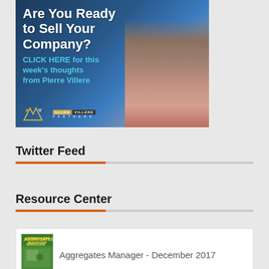[Figure (photo): Allen Villere Partners advertisement banner. Text reads: 'Are You Ready to Sell Your Company?' with subtext 'CLICK HERE for this week's thoughts from Pierre Villere'. Shows a businessman in a suit with glasses smiling. Allen Villere Partners logo at bottom left.]
Twitter Feed
Resource Center
Aggregates Manager - December 2017